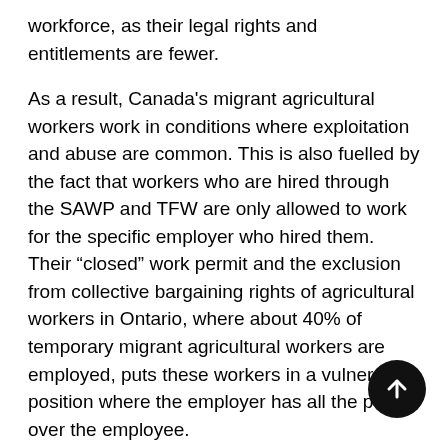workforce, as their legal rights and entitlements are fewer.
As a result, Canada's migrant agricultural workers work in conditions where exploitation and abuse are common. This is also fuelled by the fact that workers who are hired through the SAWP and TFW are only allowed to work for the specific employer who hired them. Their “closed” work permit and the exclusion from collective bargaining rights of agricultural workers in Ontario, where about 40% of temporary migrant agricultural workers are employed, puts these workers in a vulnerable position where the employer has all the power over the employee.
In June 2019, the federal government’s response to this was the introduction of the open work permit for vulnerable workers’ program. This program grants an